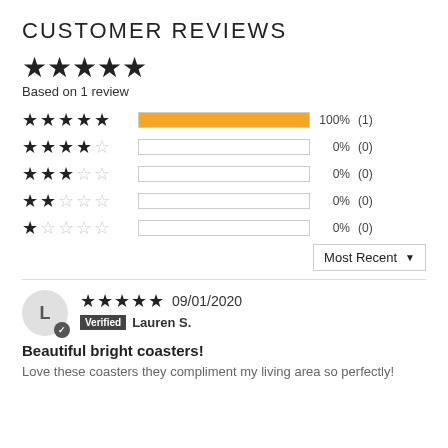CUSTOMER REVIEWS
Based on 1 review
[Figure (infographic): Star rating breakdown: 5 stars 100% (1), 4 stars 0% (0), 3 stars 0% (0), 2 stars 0% (0), 1 star 0% (0)]
Most Recent
09/01/2020 Verified Lauren S.
Beautiful bright coasters!
Love these coasters they compliment my living area so perfectly!